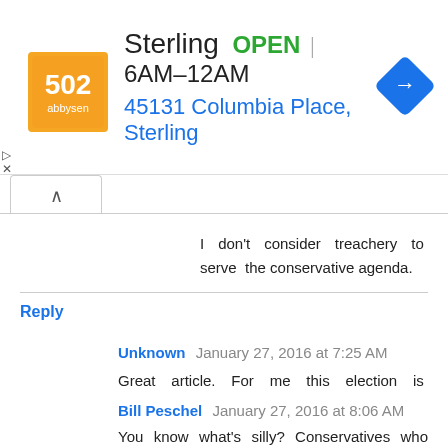[Figure (screenshot): Advertisement banner for Sterling store showing logo, OPEN status, hours 6AM-12AM, address 45131 Columbia Place, Sterling, and a blue directions icon]
I don't consider treachery to serve the conservative agenda.
Reply
Unknown  January 27, 2016 at 7:25 AM
Great article. For me this election is about cultural totalitarianism vs individual freedom. I hope my side wins, even if we have to elect a dead horse to do it.
Reply
Bill Peschel  January 27, 2016 at 8:06 AM
You know what's silly? Conservatives who read your post